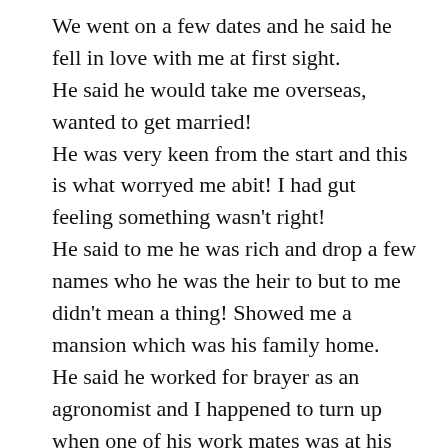We went on a few dates and he said he fell in love with me at first sight. He said he would take me overseas, wanted to get married! He was very keen from the start and this is what worryed me abit! I had gut feeling something wasn't right! He said to me he was rich and drop a few names who he was the heir to but to me didn't mean a thing! Showed me a mansion which was his family home. He said he worked for brayer as an agronomist and I happened to turn up when one of his work mates was at his house And that person really did work there! So with my understanding he was working down here.